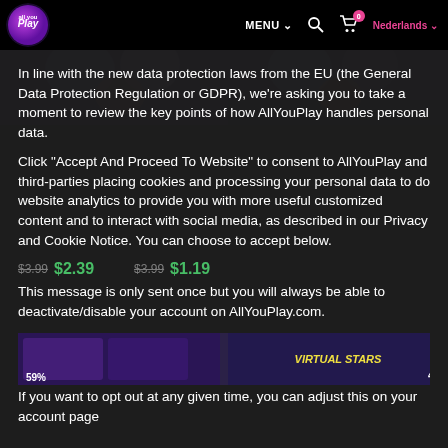AllYouPlay website navigation bar with logo, MENU, search, cart (0), and Nederlands language selector
[Figure (screenshot): Top banner showing anime game artwork with purple-haired characters]
In line with the new data protection laws from the EU (the General Data Protection Regulation or GDPR), we're asking you to take a moment to review the key points of how AllYouPlay handles personal data.
Click "Accept And Proceed To Website" to consent to AllYouPlay and third-parties placing cookies and processing your personal data to do website analytics to provide you with more useful customized content and to interact with social media, as described in our Privacy and Cookie Notice. You can choose to accept below.
This message is only sent once but you will always be able to deactivate/disable your account on AllYouPlay.com.
[Figure (screenshot): Game thumbnails strip showing discounted games at 59% and 40% off with prices $3.99 / $2.39 and $3.99 / $1.19]
If you want to opt out at any given time, you can adjust this on your account page
Accept And Proceed to Website
Click here to read our Privacy Policy.
[Figure (screenshot): Bottom game thumbnails strip with anime artwork]